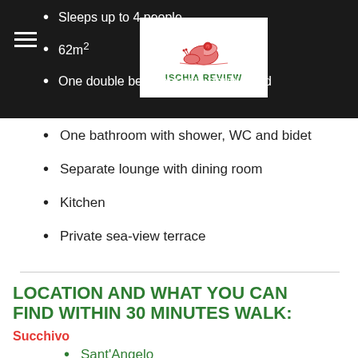[Figure (logo): Ischia Review logo with snail illustration and green text]
Sleeps up to 4 people
62m²
One double bedroom with double bed
One bathroom with shower, WC and bidet
Separate lounge with dining room
Kitchen
Private sea-view terrace
LOCATION AND WHAT YOU CAN FIND WITHIN 30 MINUTES WALK:
Succhivo
Sant'Angelo
Panza
Chiaia di Rose Beach